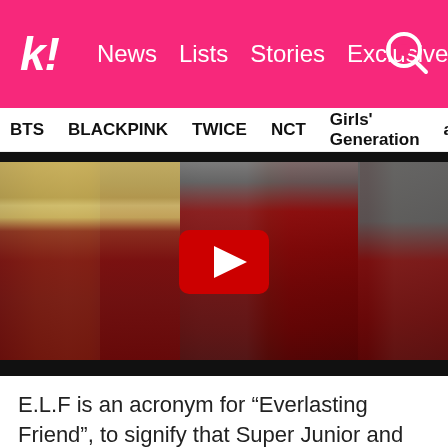k! News Lists Stories Exclusives
BTS  BLACKPINK  TWICE  NCT  Girls' Generation  aespa
[Figure (screenshot): Video thumbnail of Super Junior member performing on stage in a red military-style jacket with gold epaulettes, holding a microphone. A YouTube play button is overlaid in the center. Another band member in blonde hair visible on left.]
E.L.F is an acronym for “Everlasting Friend”, to signify that Super Junior and their fans will be close forever. Their fans are also sometimes called “fairies” since elves are magical